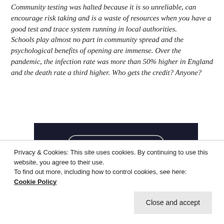Community testing was halted because it is so unreliable, can encourage risk taking and is a waste of resources when you have a good test and trace system running in local authorities. Schools play almost no part in community spread and the psychological benefits of opening are immense. Over the pandemic, the infection rate was more than 50% higher in England and the death rate a third higher. Who gets the credit? Anyone?
[Figure (other): Dark background banner with a rounded button labelled 'Get started for free']
Privacy & Cookies: This site uses cookies. By continuing to use this website, you agree to their use.
To find out more, including how to control cookies, see here:
Cookie Policy
Close and accept